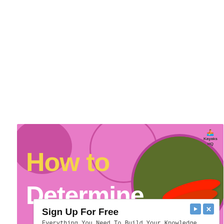[Figure (illustration): Pink banner with 'How to Determine' text in yellow and white, red kayaks in a circular photo on the right, KayaksHQ logo top right, decorative pink blobs]
Sign Up For Free
Everything You Need To Build Your Knowledge Base
Relanote
Open